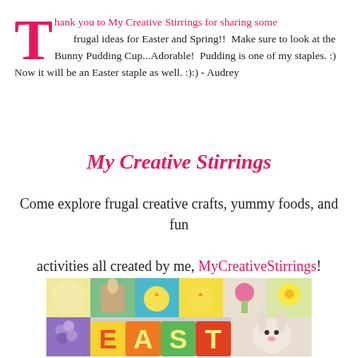Thank you to My Creative Stirrings for sharing some frugal ideas for Easter and Spring!!  Make sure to look at the Bunny Pudding Cup...Adorable!  Pudding is one of my staples. :)  Now it will be an Easter staple as well. :):) - Audrey
My Creative Stirrings
Come explore frugal creative crafts, yummy foods, and fun activities all created by me, MyCreativeStirrings!
[Figure (photo): A collage of Easter and Spring themed images including fabric crafts with chicks, bunnies, spring flowers, and colorful letter blocks spelling EAST(ER)]